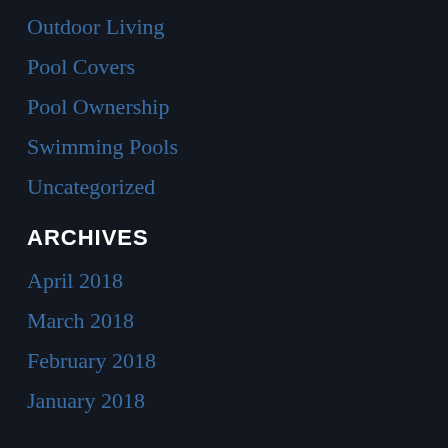Outdoor Living
Pool Covers
Pool Ownership
Swimming Pools
Uncategorized
ARCHIVES
April 2018
March 2018
February 2018
January 2018
December 2017
November 2017
October 2017